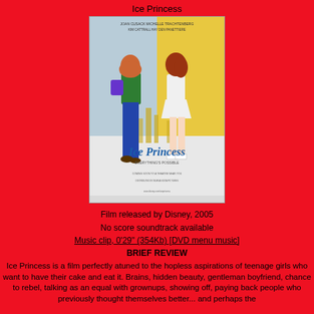Ice Princess
[Figure (photo): Movie poster for Ice Princess (2005) showing two young women, one in jeans and green jacket holding books, one in a white ice skating outfit, with a cityscape in the background and the Ice Princess title in blue text]
Film released by Disney, 2005
No score soundtrack available
Music clip, 0'29" (354Kb) [DVD menu music]
BRIEF REVIEW
Ice Princess is a film perfectly atuned to the hopless aspirations of teenage girls who want to have their cake and eat it. Brains, hidden beauty, gentleman boyfriend, chance to rebel, talking as an equal with grownups, showing off, paying back people who previously thought themselves better... and perhaps the